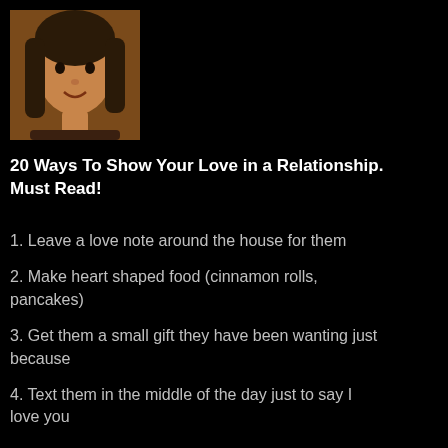[Figure (photo): Portrait photo of a person with long dark hair against a warm/orange background]
20 Ways To Show Your Love in a Relationship. Must Read!
1. Leave a love note around the house for them
2. Make heart shaped food (cinnamon rolls, pancakes)
3. Get them a small gift they have been wanting just because
4. Text them in the middle of the day just to say I love you